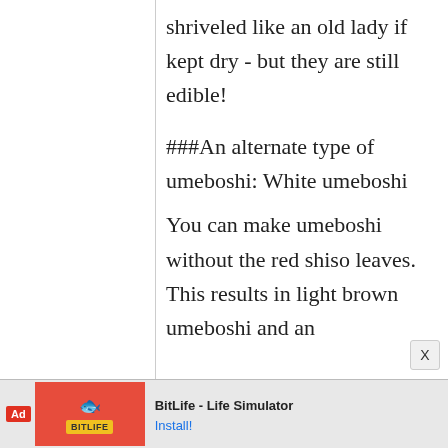shriveled like an old lady if kept dry - but they are still edible!
###An alternate type of umeboshi: White umeboshi
You can make umeboshi without the red shiso leaves. This results in light brown umeboshi and an
[Figure (screenshot): Advertisement banner at bottom of page for BitLife - Life Simulator app with Install button]